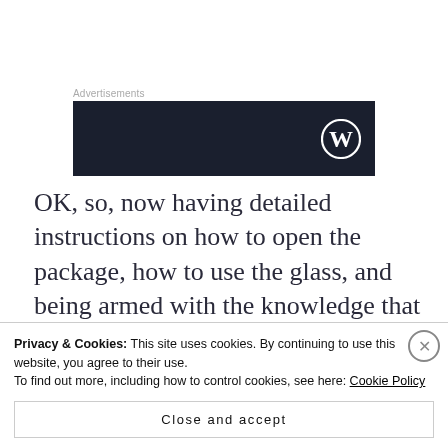Advertisements
[Figure (logo): Dark navy WordPress advertisement banner with WordPress logo (W in circle) on right side]
OK, so, now having detailed instructions on how to open the package, how to use the glass, and being armed with the knowledge that I have been drinking incorrectly for years, I was ready to taste. For this comparison we used Old Forester 1870 and Larceny, in case you want to
Privacy & Cookies: This site uses cookies. By continuing to use this website, you agree to their use.
To find out more, including how to control cookies, see here: Cookie Policy
Close and accept